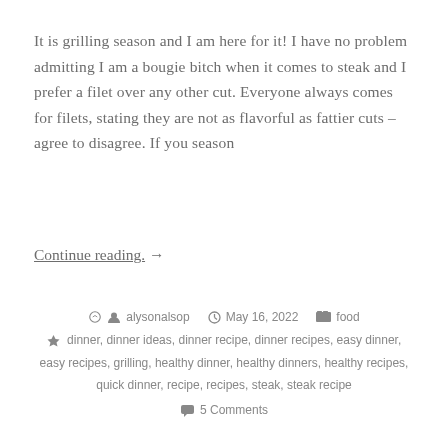It is grilling season and I am here for it! I have no problem admitting I am a bougie bitch when it comes to steak and I prefer a filet over any other cut. Everyone always comes for filets, stating they are not as flavorful as fattier cuts – agree to disagree. If you season
Continue reading. →
alysonalsop  May 16, 2022  food  dinner, dinner ideas, dinner recipe, dinner recipes, easy dinner, easy recipes, grilling, healthy dinner, healthy dinners, healthy recipes, quick dinner, recipe, recipes, steak, steak recipe  5 Comments